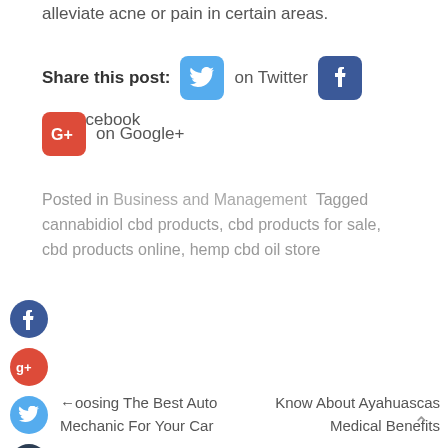alleviate acne or pain in certain areas.
Share this post: on Twitter on Facebook on Google+
Posted in Business and Management Tagged cannabidiol cbd products, cbd products for sale, cbd products online, hemp cbd oil store
← Choosing The Best Auto Mechanic For Your Car
Know About Ayahuascas Medical Benefits →